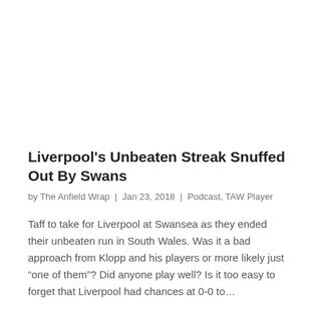Liverpool's Unbeaten Streak Snuffed Out By Swans
by The Anfield Wrap  |  Jan 23, 2018  |  Podcast, TAW Player
Taff to take for Liverpool at Swansea as they ended their unbeaten run in South Wales. Was it a bad approach from Klopp and his players or more likely just “one of them”? Did anyone play well? Is it too easy to forget that Liverpool had chances at 0-0 to…